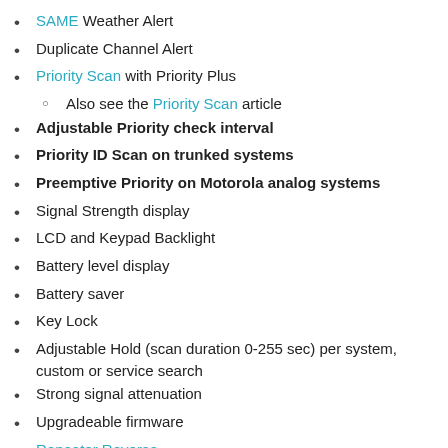SAME Weather Alert
Duplicate Channel Alert
Priority Scan with Priority Plus
Also see the Priority Scan article
Adjustable Priority check interval
Priority ID Scan on trunked systems
Preemptive Priority on Motorola analog systems
Signal Strength display
LCD and Keypad Backlight
Battery level display
Battery saver
Key Lock
Adjustable Hold (scan duration 0-255 sec) per system, custom or service search
Strong signal attenuation
Upgradeable firmware
Repeater Reverse